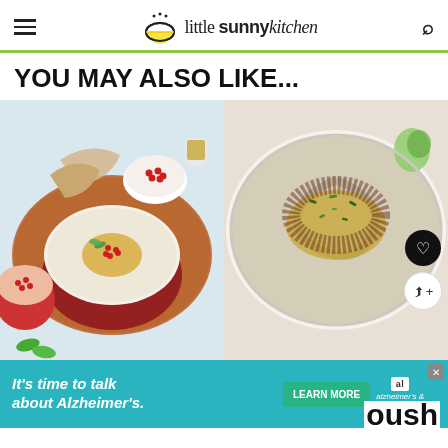little sunny kitchen
YOU MAY ALSO LIKE...
[Figure (photo): Baba ganoush in a red bowl with pomegranate seeds, olive oil, pita bread on a wooden board]
[Figure (photo): Baba ganoush in a white bowl with olive oil, herbs, and sumac, with heart and share buttons]
It's time to talk about Alzheimer's. LEARN MORE — alzheimer's association
oush